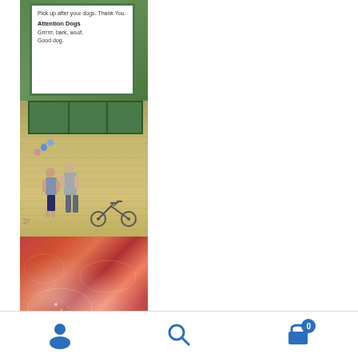[Figure (photo): Photo of a park sign reading 'Pick up after your dogs. Thank You.' and 'Attention Dogs: Grrrrrr, bark, woof. Good dog.' on a white sign with green border, surrounded by foliage]
[Figure (photo): Photo of a street mural on a yellow-tan wall depicting a woman in a blue skirt and a man in suspenders standing next to a bicycle, with colorful balloons, and green windows above]
[Figure (photo): Close-up photo of frost-covered red and orange autumn leaves]
[Figure (screenshot): Mobile app bottom navigation toolbar with three icons: user/profile icon (left), search/magnifying glass icon (center), and shopping cart icon with badge showing 0 (right), all in blue]